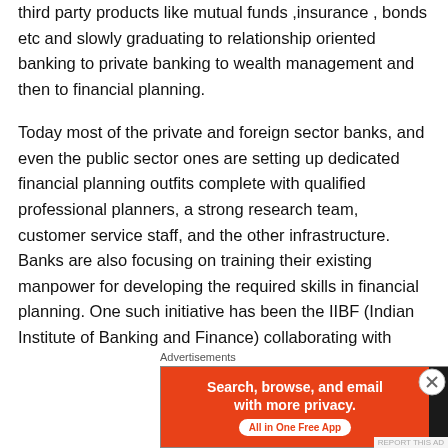third party products like mutual funds ,insurance , bonds etc and slowly graduating to relationship oriented banking to private banking to wealth management and then to financial planning.
Today most of the private and foreign sector banks, and even the public sector ones are setting up dedicated financial planning outfits complete with qualified professional planners, a strong research team, customer service staff, and the other infrastructure. Banks are also focusing on training their existing manpower for developing the required skills in financial planning. One such initiative has been the IIBF (Indian Institute of Banking and Finance) collaborating with FPSB (Financial
Advertisements
[Figure (other): DuckDuckGo advertisement banner with orange left section reading 'Search, browse, and email with more privacy. All in One Free App' and dark right section with DuckDuckGo logo]